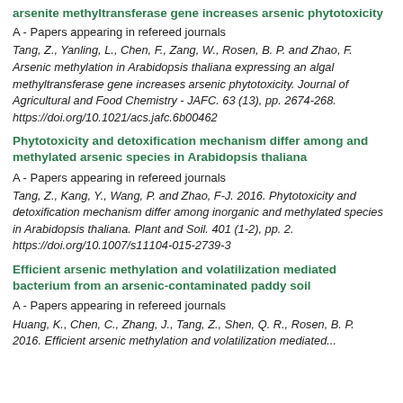arsenite methyltransferase gene increases arsenic phytotoxicity
A - Papers appearing in refereed journals
Tang, Z., Yanling, L., Chen, F., Zang, W., Rosen, B. P. and Zhao, F. Arsenic methylation in Arabidopsis thaliana expressing an algal methyltransferase gene increases arsenic phytotoxicity. Journal of Agricultural and Food Chemistry - JAFC. 63 (13), pp. 2674-268. https://doi.org/10.1021/acs.jafc.6b00462
Phytotoxicity and detoxification mechanism differ among and methylated arsenic species in Arabidopsis thaliana
A - Papers appearing in refereed journals
Tang, Z., Kang, Y., Wang, P. and Zhao, F-J. 2016. Phytotoxicity and detoxification mechanism differ among inorganic and methylated species in Arabidopsis thaliana. Plant and Soil. 401 (1-2), pp. 2. https://doi.org/10.1007/s11104-015-2739-3
Efficient arsenic methylation and volatilization mediated bacterium from an arsenic-contaminated paddy soil
A - Papers appearing in refereed journals
Huang, K., Chen, C., Zhang, J., Tang, Z., Shen, Q. R., Rosen, B. P. 2016. Efficient arsenic methylation and volatilization mediated...